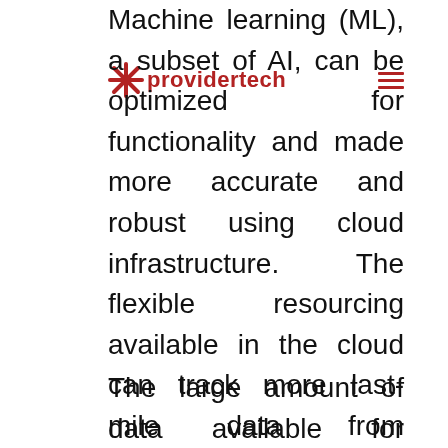[Figure (logo): Providertech logo with red asterisk/star icon and red bold text 'providertech', with red hamburger menu icon on the right]
Machine learning (ML), a subset of AI, can be optimized for functionality and made more accurate and robust using cloud infrastructure. The flexible resourcing available in the cloud can track more last-mile data from wearables, remote patient monitoring devices and health trackers. This data can then be stored on a cloud server in a cost-effective manner. ML models can then be trained to do heavy-duty analysis of this large amount of data in order to increase their efficiency and improve accuracy over time.
The large amount of data available for training makes ML models scale even better